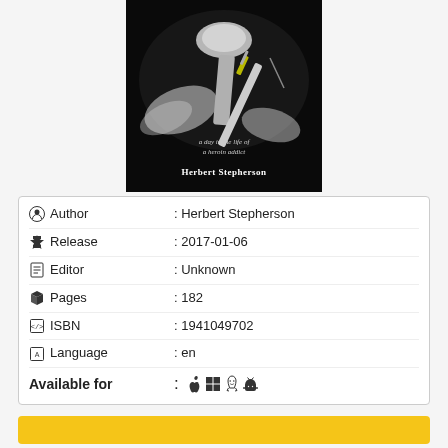[Figure (illustration): Book cover for a book about heroin addiction, dark background with spoon, syringe and powder imagery, subtitle 'a day in the life of a heroin addict', author Herbert Stepherson]
| Field | Value |
| --- | --- |
| Author | Herbert Stepherson |
| Release | 2017-01-06 |
| Editor | Unknown |
| Pages | 182 |
| ISBN | 1941049702 |
| Language | en |
| Available for | : apple windows linux android icons |
(Download button)